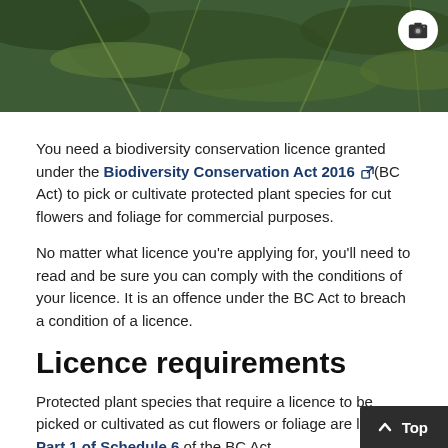[Figure (photo): Close-up photo of green plant foliage with a camera icon button overlay in the top right corner]
You need a biodiversity conservation licence granted under the Biodiversity Conservation Act 2016 (BC Act) to pick or cultivate protected plant species for cut flowers and foliage for commercial purposes.
No matter what licence you're applying for, you'll need to read and be sure you can comply with the conditions of your licence. It is an offence under the BC Act to breach a condition of a licence.
Licence requirements
Protected plant species that require a licence to be picked or cultivated as cut flowers or foliage are listed in Part 1 of Schedule 6 of the BC Act.
The species listed in Part 1 of Schedule 6 are divided into 4 groups. These groups have different licensing, tag…